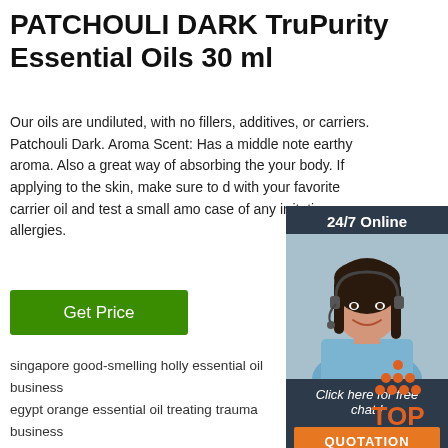PATCHOULI DARK TruPurity Essential Oils 30 ml
Our oils are undiluted, with no fillers, additives, or carriers. Patchouli Dark. Aroma Scent: Has a middle note earthy aroma. Also a great way of absorbing the your body. If applying to the skin, make sure to d with your favorite carrier oil and test a small amo case of any irritation or allergies.
Get Price
[Figure (photo): Customer support agent - woman with headset smiling, with '24/7 Online' header and 'Click here for free chat! QUOTATION' button. Dark blue/teal background widget.]
singapore good-smelling holly essential oil business egypt orange essential oil treating trauma business france best after-sales sand worm extract wholesaler egypt cananga odorata essential oil hemostasis direct manufacturers
[Figure (logo): TOP logo with orange triangle/arrow dots above the word TOP in orange text]